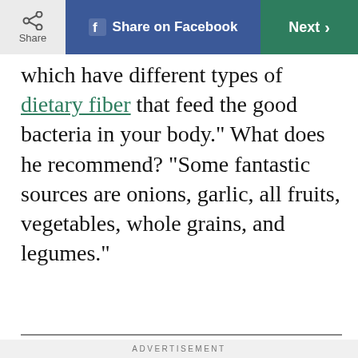Share | Share on Facebook | Next >
which have different types of dietary fiber that feed the good bacteria in your body." What does he recommend? "Some fantastic sources are onions, garlic, all fruits, vegetables, whole grains, and legumes."
ADVERTISEMENT
[Figure (photo): Woman in red sweater leaning forward, reading a label on a product in a store aisle with shelves in the background.]